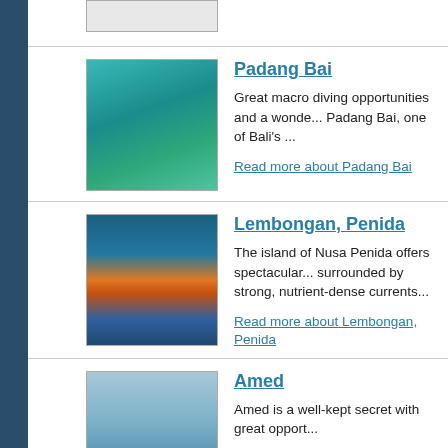[Figure (photo): Small placeholder image at top of page]
Padang Bai
Great macro diving opportunities and a wonde... Padang Bai, one of Bali's ...
Read more about Padang Bai
[Figure (photo): Underwater coral reef scene with orange fish and diver]
Lembongan, Penida
The island of Nusa Penida offers spectacular... surrounded by strong, nutrient-dense currents...
Read more about Lembongan, Penida
[Figure (photo): Shark swimming underwater]
Amed
Amed is a well-kept secret with great opport...